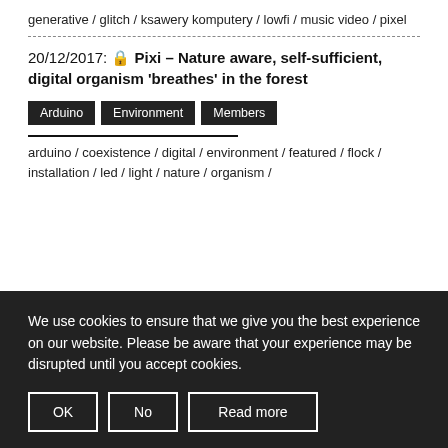generative / glitch / ksawery komputery / lowfi / music video / pixel
20/12/2017: 🔒 Pixi – Nature aware, self-sufficient, digital organism 'breathes' in the forest
Arduino  Environment  Members
arduino / coexistence / digital / environment / featured / flock / installation / led / light / nature / organism /
We use cookies to ensure that we give you the best experience on our website. Please be aware that your experience may be disrupted until you accept cookies.
OK  No  Read more